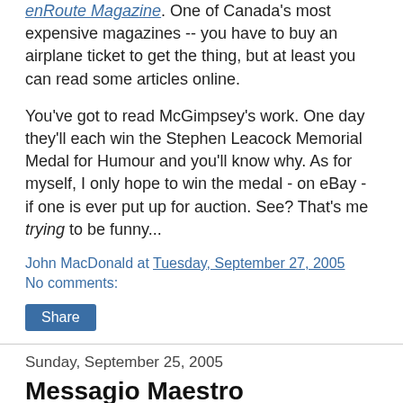enRoute Magazine. One of Canada's most expensive magazines -- you have to buy an airplane ticket to get the thing, but at least you can read some articles online.
You've got to read McGimpsey's work. One day they'll each win the Stephen Leacock Memorial Medal for Humour and you'll know why. As for myself, I only hope to win the medal - on eBay - if one is ever put up for auction. See? That's me trying to be funny...
John MacDonald at Tuesday, September 27, 2005
No comments:
Share
Sunday, September 25, 2005
Messagio Maestro
Little did I know that last night I was to witness one of the most electric sound poetry perfomances in Canadian poetic history. Too much of a boast perhaps...what the hell do I